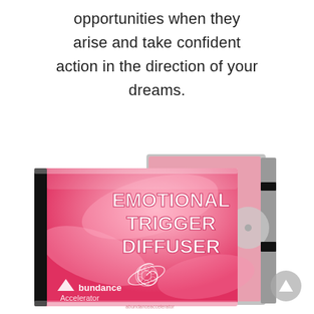opportunities when they arise and take confident action in the direction of your dreams.
[Figure (illustration): A pink CD/DVD case product box showing 'Emotional Trigger Diffuser' with a nautilus shell logo and 'Abundance Accelerator' branding on a pink smoky background. Two overlapping cases are shown at an angle.]